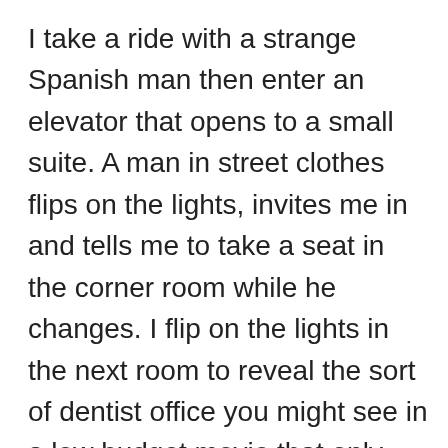I take a ride with a strange Spanish man then enter an elevator that opens to a small suite. A man in street clothes flips on the lights, invites me in and tells me to take a seat in the corner room while he changes. I flip on the lights in the next room to reveal the sort of dentist office you might see in a low budget movie that only had the money for a massage chair and a couple mirrors. My dentist enters, still in his street clothes, but now wearing one of those masks. He tells me that he used to live in Connecticut and “should we switch to speaking English?” I agree and he goes on to speak a language that’s completely incomprehensible to me. When he pauses I tell him he’s very good; in particular his accent. He says in Spanish that while he’s impressed with how white my teeth are, he couldn’t match the color. He went a few shades darker and suggests that I get it fixed when I return to